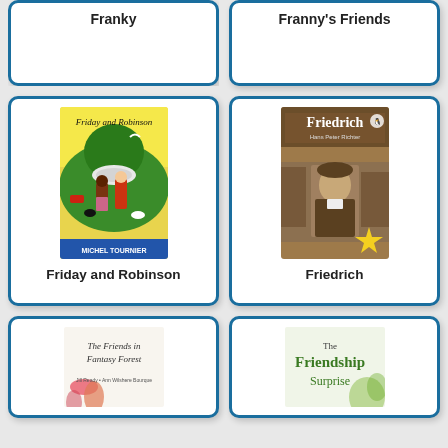[Figure (illustration): Book catalog card for 'Franky' - top partial card showing title only]
Franky
[Figure (illustration): Book catalog card for 'Franny's Friends' - top partial card showing title only]
Franny's Friends
[Figure (illustration): Book cover for 'Friday and Robinson' by Michel Tournier - colorful illustrated cover with tropical scene]
Friday and Robinson
[Figure (illustration): Book cover for 'Friedrich' by Hans Peter Richter - sepia photo of a boy with yellow star]
Friedrich
[Figure (illustration): Book cover for 'The Friends in Fantasy Forest' - partial view at bottom]
[Figure (illustration): Book cover for 'The Friendship Surprise' - partial view at bottom]